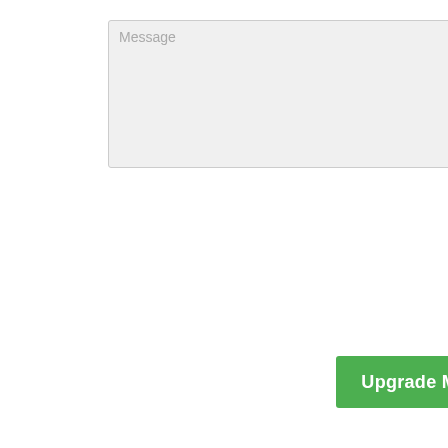[Figure (screenshot): Message text area input field with placeholder text 'Message' and resize handle in the bottom right corner]
[Figure (screenshot): Green button labeled 'Upgrade My Pumps!' with a right-pointing arrow]
[Figure (screenshot): YouTube video embed showing 'Sound Easy Pump Install Ex...' with channel logo, three icons below labeled SIMPLE, AFFORDABLE, SEMI-INTEGRATED]